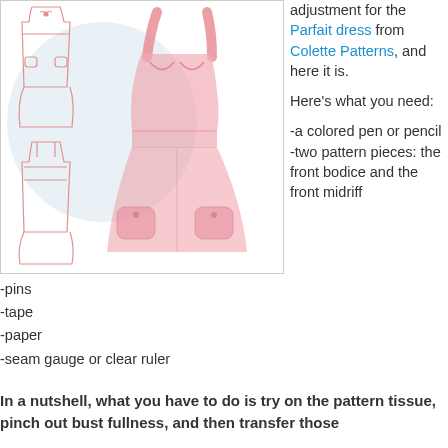[Figure (illustration): Drawing of a dress pattern (Parfait dress) showing front and back line art sketches alongside a pink watercolor-style illustration of the actual dress with straps, bodice, and pockets.]
adjustment for the Parfait dress from Colette Patterns, and here it is.

Here's what you need:

-a colored pen or pencil
-two pattern pieces: the front bodice and the front midriff
-pins
-tape
-paper
-seam gauge or clear ruler
In a nutshell, what you have to do is try on the pattern tissue, pinch out bust fullness, and then transfer those